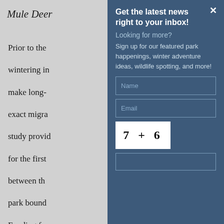Mule Deer
Prior to the ... wintering in ... make long- ... exact migra ... study provid ... for the first ... between th ... park bound ...
Get the latest news right to your inbox!
Looking for more?
Sign up for our featured park happenings, winter adventure ideas, wildlife spotting, and more!
Funding fo ... including a ...